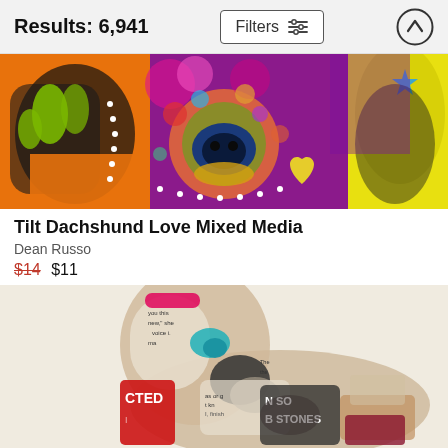Results: 6,941
[Figure (photo): Colorful pop-art style painting of a Dachshund dog close-up, with vivid colors including orange, pink, green, blue, yellow. Close-up of dog's nose and ears with decorative elements like dots, heart, and star.]
Tilt Dachshund Love Mixed Media
Dean Russo
$14 $11
[Figure (illustration): Collage art illustration of a dog (possibly a basset hound or similar breed) made from layered newsprint, magazine clippings, and colorful paper scraps. Visible text fragments include 'you this', 'new she', 'voice i', 'ma', 'as or g', 't kn', 'I, finish', 'CTED', 'N SO', 'B STONES'. Cream/beige background.]